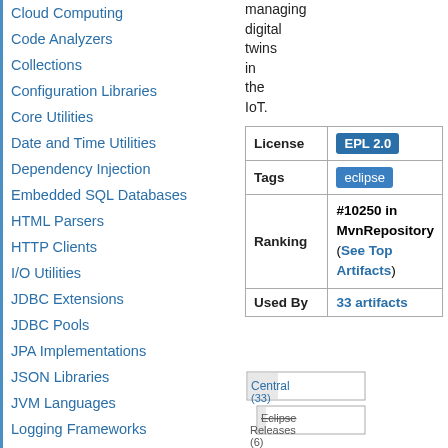Cloud Computing
Code Analyzers
Collections
Configuration Libraries
Core Utilities
Date and Time Utilities
Dependency Injection
Embedded SQL Databases
HTML Parsers
HTTP Clients
I/O Utilities
JDBC Extensions
JDBC Pools
JPA Implementations
JSON Libraries
JVM Languages
Logging Frameworks
Logging Bridges
Mail Clients
managing digital twins in the IoT.
|  |  |
| --- | --- |
| License | EPL 2.0 |
| Tags | eclipse |
| Ranking | #10250 in MvnRepository (See Top Artifacts) |
| Used By | 33 artifacts |
[Figure (bar-chart): Repository distribution]